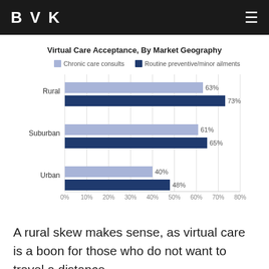BVK
[Figure (grouped-bar-chart): Virtual Care Acceptance, By Market Geography]
A rural skew makes sense, as virtual care is a boon for those who do not want to travel a distance